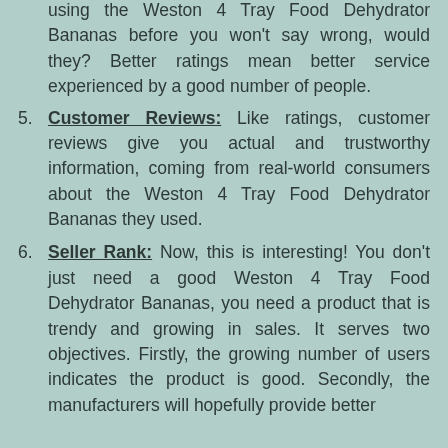4. Customer Ratings: The hundreds of customers using the Weston 4 Tray Food Dehydrator Bananas before you won't say wrong, would they? Better ratings mean better service experienced by a good number of people.
5. Customer Reviews: Like ratings, customer reviews give you actual and trustworthy information, coming from real-world consumers about the Weston 4 Tray Food Dehydrator Bananas they used.
6. Seller Rank: Now, this is interesting! You don't just need a good Weston 4 Tray Food Dehydrator Bananas, you need a product that is trendy and growing in sales. It serves two objectives. Firstly, the growing number of users indicates the product is good. Secondly, the manufacturers will hopefully provide better